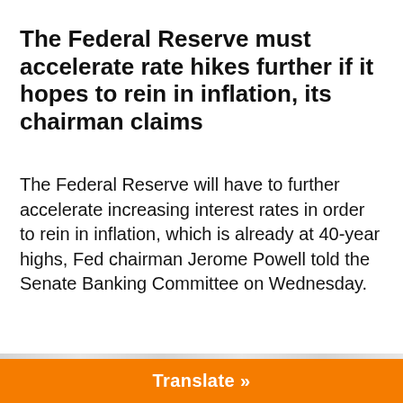The Federal Reserve must accelerate rate hikes further if it hopes to rein in inflation, its chairman claims
The Federal Reserve will have to further accelerate increasing interest rates in order to rein in inflation, which is already at 40-year highs, Fed chairman Jerome Powell told the Senate Banking Committee on Wednesday.
We use cookies on our website to give you the most relevant experience by remembering your preferences and repeat visits. By clicking “Accept”, you consent to the use of ALL the cookies.
Do not sell my personal information.